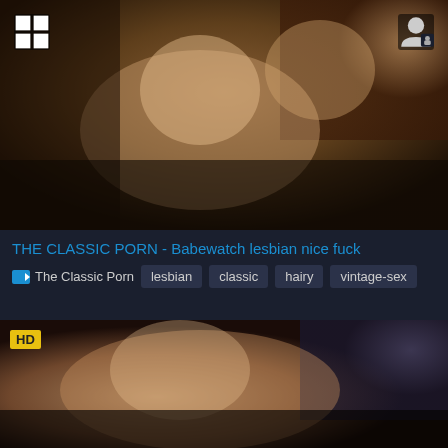[Figure (screenshot): Video thumbnail showing adult content from The Classic Porn - Babewatch lesbian scene, vintage style, warm tones]
8:27
THE CLASSIC PORN - Babewatch lesbian nice fuck
The Classic Porn   lesbian   classic   hairy   vintage-sex
[Figure (screenshot): Second video thumbnail, HD, adult content, two women, vintage style]